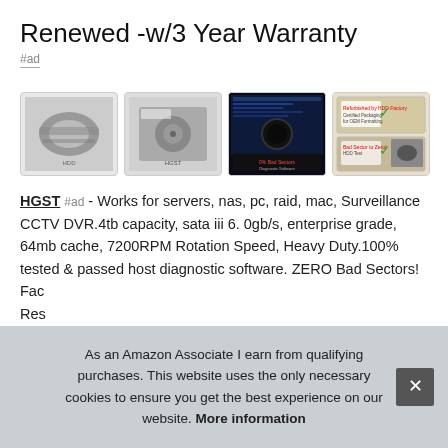Renewed -w/3 Year Warranty
#ad
[Figure (photo): Four product thumbnail images: two hard disk drives, one diagnostic software screenshot on a monitor, and one boxed product with certification stickers.]
HGST #ad - Works for servers, nas, pc, raid, mac, Surveillance CCTV DVR.4tb capacity, sata iii 6. 0gb/s, enterprise grade, 64mb cache, 7200RPM Rotation Speed, Heavy Duty.100% tested & passed host diagnostic software. ZERO Bad Sectors! Factory Renewed. Renewed
As an Amazon Associate I earn from qualifying purchases. This website uses the only necessary cookies to ensure you get the best experience on our website. More information